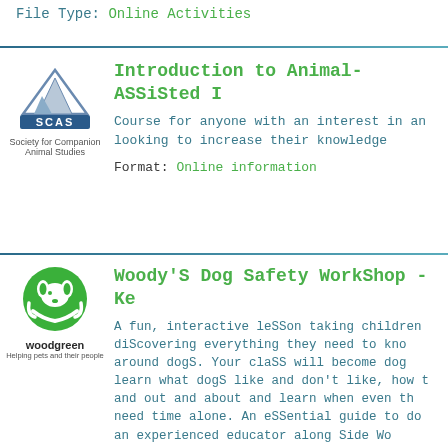File Type: Online Activities
Introduction to Animal-ASSiSted I
Course for anyone with an interest in an looking to increase their knowledge
Format: Online information
Woody'S Dog Safety WorkShop - Ke
A fun, interactive lesson taking children discovering everything they need to kno around dogs. Your class will become dog learn what dogs like and don't like, how t and out and about and learn when even th need time alone. An essential guide to do an experienced educator along Side Wo